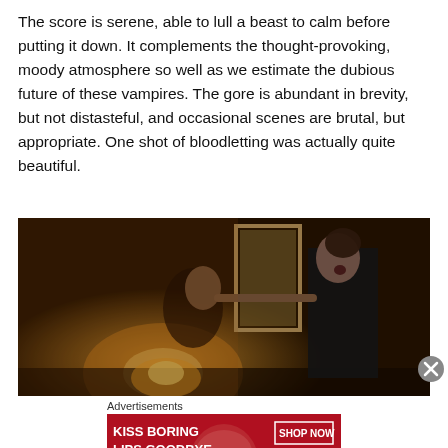The score is serene, able to lull a beast to calm before putting it down. It complements the thought-provoking, moody atmosphere so well as we estimate the dubious future of these vampires. The gore is abundant in brevity, but not distasteful, and occasional scenes are brutal, but appropriate. One shot of bloodletting was actually quite beautiful.
[Figure (photo): A dark, moody film still showing two figures in a dimly lit amber-toned room; one person appears to be biting or attacking the neck of another person, who is in a black dress with mouth open.]
Advertisements
[Figure (photo): Advertisement banner: 'KISS BORING LIPS GOODBYE' with a woman's face showing red lips, and 'SHOP NOW' button with Macy's star logo on red background.]